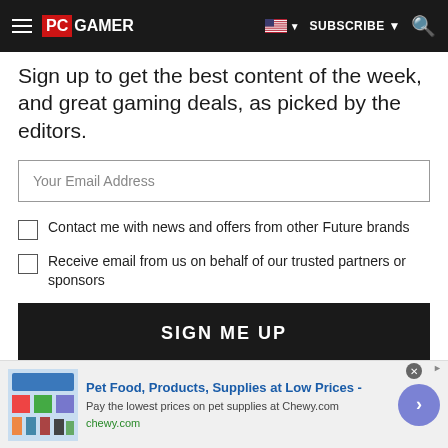PC GAMER | SUBSCRIBE
Sign up to get the best content of the week, and great gaming deals, as picked by the editors.
Your Email Address
Contact me with news and offers from other Future brands
Receive email from us on behalf of our trusted partners or sponsors
SIGN ME UP
By submitting your information you agree to the Terms & Conditions and Privacy Policy and are aged 16 or over.
[Figure (screenshot): Advertisement for Chewy.com: Pet Food, Products, Supplies at Low Prices - Pay the lowest prices on pet supplies at Chewy.com]